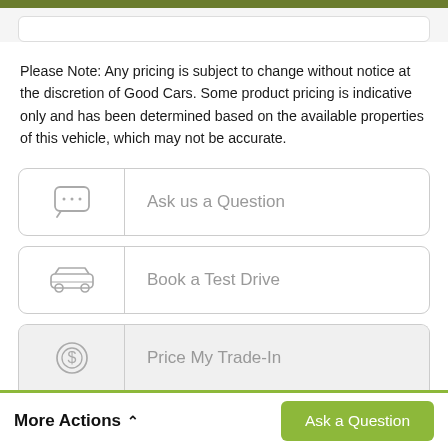Please Note: Any pricing is subject to change without notice at the discretion of Good Cars. Some product pricing is indicative only and has been determined based on the available properties of this vehicle, which may not be accurate.
[Figure (screenshot): Button: Ask us a Question with chat bubble icon]
[Figure (screenshot): Button: Book a Test Drive with car icon]
[Figure (screenshot): Button: Price My Trade-In with dollar-sign circle icon]
More Actions ∧   Ask a Question